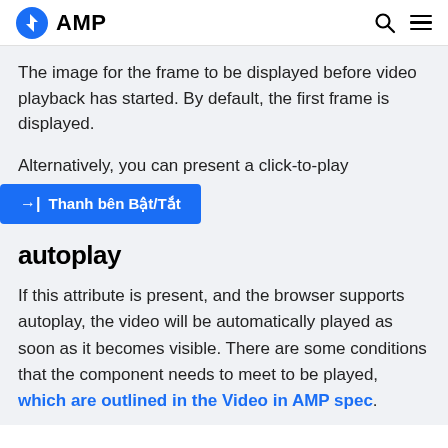AMP
The image for the frame to be displayed before video playback has started. By default, the first frame is displayed.
Alternatively, you can present a click-to-play
→| Thanh bên Bật/Tắt
autoplay
If this attribute is present, and the browser supports autoplay, the video will be automatically played as soon as it becomes visible. There are some conditions that the component needs to meet to be played, which are outlined in the Video in AMP spec.